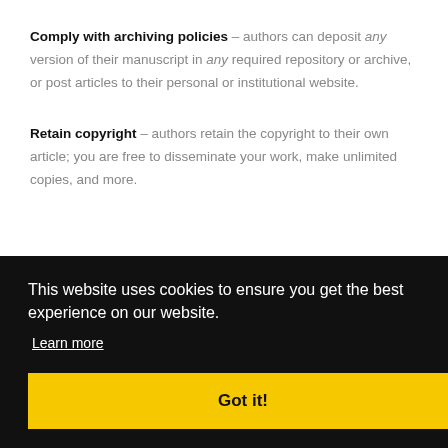Comply with archiving policies – authors can deposit any version of their manuscript in any required repository or archive, or post articles to their personal or institutional website.
Retain copyright – authors retain the copyright to their own article; you are free to disseminate your work, make unlimited copies, and more.
This website uses cookies to ensure you get the best experience on our website. Learn more